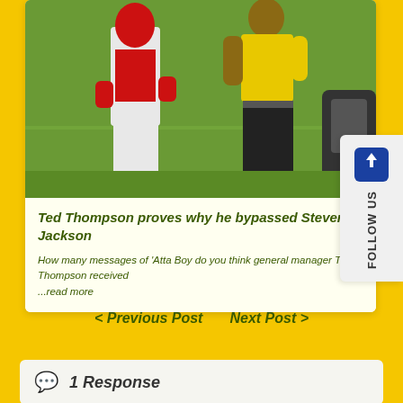[Figure (photo): Sports photo showing a football player in red and white uniform with red gloves, alongside a man in a yellow shirt and black pants, on a green football field]
Ted Thompson proves why he bypassed Steven Jackson
How many messages of 'Atta Boy do you think general manager Ted Thompson received ...read more
< Previous Post   Next Post >
💬 1 Response